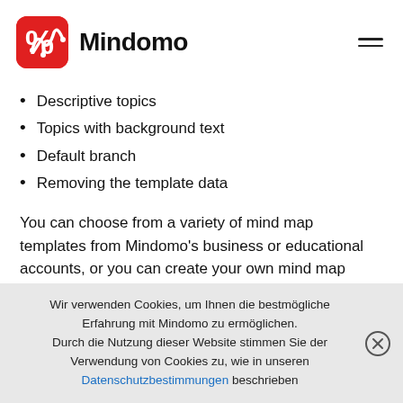Mindomo
Descriptive topics
Topics with background text
Default branch
Removing the template data
You can choose from a variety of mind map templates from Mindomo's business or educational accounts, or you can create your own mind map templates from scratch. Any mind map can be transformed into a mind map template map by adding further guiding notes to one of its topics.
Wir verwenden Cookies, um Ihnen die bestmögliche Erfahrung mit Mindomo zu ermöglichen. Durch die Nutzung dieser Website stimmen Sie der Verwendung von Cookies zu, wie in unseren Datenschutzbestimmungen beschrieben